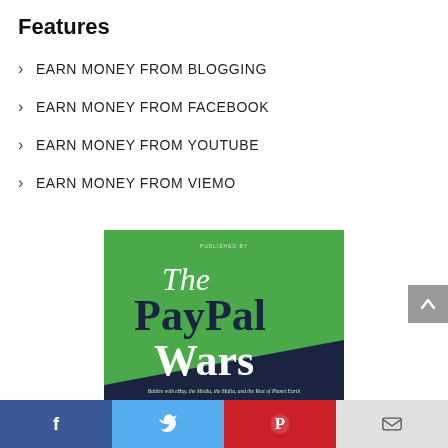Features
EARN MONEY FROM BLOGGING
EARN MONEY FROM FACEBOOK
EARN MONEY FROM YOUTUBE
EARN MONEY FROM VIEMO
[Figure (illustration): Book cover of 'The PayPal Wars: Battles with eBay, the Media, the Mafia, and the Rest of Planet Earth' on a green background with dark navy triangle shape at bottom.]
Facebook | Twitter | Pinterest | Email